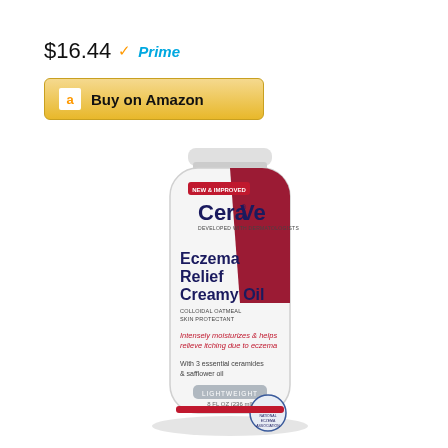$16.44 ✓Prime
Buy on Amazon
[Figure (photo): CeraVe Eczema Relief Creamy Oil product tube. White tube with dark red/maroon diagonal design. Text on tube: NEW & IMPROVED, CeraVe, DEVELOPED WITH DERMATOLOGISTS, Eczema Relief Creamy Oil, COLLOIDAL OATMEAL SKIN PROTECTANT, Intensely moisturizes & helps relieve itching due to eczema, With 3 essential ceramides & safflower oil, LIGHTWEIGHT, 8 FL OZ (236 ml). National Eczema Association seal visible.]